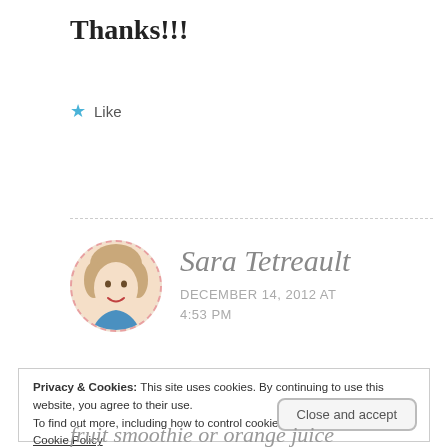Thanks!!!
★ Like
Sara Tetreault
DECEMBER 14, 2012 AT 4:53 PM
Privacy & Cookies: This site uses cookies. By continuing to use this website, you agree to their use.
To find out more, including how to control cookies, see here:
Cookie Policy
Close and accept
fruit smoothie or orange juice